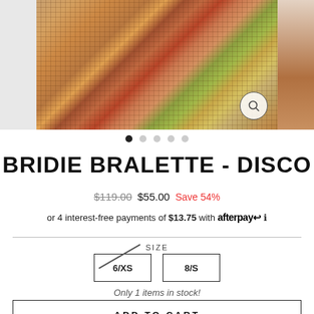[Figure (photo): Product photo of Bridie Bralette - Disco, showing a model wearing a holographic disco-print skirt with a cropped top. Left and right side partial images visible. Zoom icon in bottom-right.]
BRIDIE BRALETTE - DISCO
$119.00  $55.00  Save 54%
or 4 interest-free payments of $13.75 with afterpay ℹ
SIZE
6/XS  8/S
Only 1 items in stock!
ADD TO CART